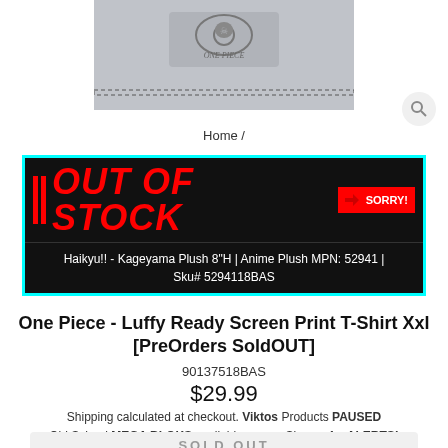[Figure (photo): Gray One Piece branded t-shirt product image showing the skull logo]
Home /
[Figure (infographic): Out of Stock banner with red text on black background, cyan border, saying OUT OF STOCK SORRY! and product info: Haikyu!! - Kageyama Plush 8"H | Anime Plush MPN: 52941 | Sku# 5294118BAS]
One Piece - Luffy Ready Screen Print T-Shirt Xxl [PreOrders SoldOUT]
90137518BAS
$29.99
Shipping calculated at checkout. Viktos Products PAUSED Old School MEGA BLOKS available soon... Sign up for ALERTS!
SOLD OUT